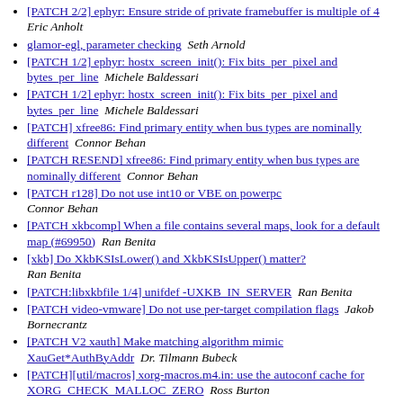[PATCH 2/2] ephyr: Ensure stride of private framebuffer is multiple of 4  Eric Anholt
glamor-egl, parameter checking  Seth Arnold
[PATCH 1/2] ephyr: hostx_screen_init(): Fix bits_per_pixel and bytes_per_line  Michele Baldessari
[PATCH 1/2] ephyr: hostx_screen_init(): Fix bits_per_pixel and bytes_per_line  Michele Baldessari
[PATCH] xfree86: Find primary entity when bus types are nominally different  Connor Behan
[PATCH RESEND] xfree86: Find primary entity when bus types are nominally different  Connor Behan
[PATCH r128] Do not use int10 or VBE on powerpc  Connor Behan
[PATCH xkbcomp] When a file contains several maps, look for a default map (#69950)  Ran Benita
[xkb] Do XkbKSIsLower() and XkbKSIsUpper() matter?  Ran Benita
[PATCH:libxkbfile 1/4] unifdef -UXKB_IN_SERVER  Ran Benita
[PATCH video-vmware] Do not use per-target compilation flags  Jakob Bornecrantz
[PATCH V2 xauth] Make matching algorithm mimic XauGet*AuthByAddr  Dr. Tilmann Bubeck
[PATCH][util/macros] xorg-macros.m4.in: use the autoconf cache for XORG_CHECK_MALLOC_ZERO  Ross Burton
[PATCH][util...